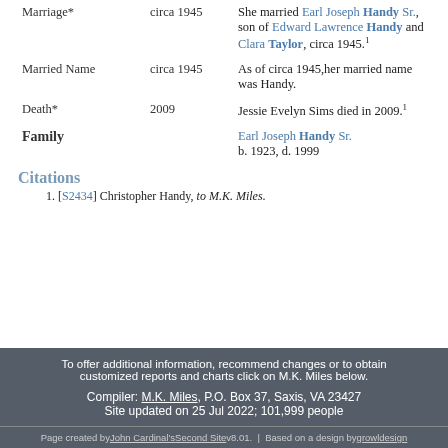| Event | Date | Description |
| --- | --- | --- |
| Marriage* | circa 1945 | She married Earl Joseph Handy Sr., son of Edward Lawrence Handy and Clara Taylor, circa 1945.[1] |
| Married Name | circa 1945 | As of circa 1945,her married name was Handy. |
| Death* | 2009 | Jessie Evelyn Sims died in 2009.[1] |
| Family |  | Earl Joseph Handy Sr. b. 1923, d. 1999 |
Citations
1. [S2434] Christopher Handy, to M.K. Miles.
To offer additional information, recommend changes or to obtain customized reports and charts click on M.K. Miles below. Compiler: M.K. Miles, P.O. Box 37, Saxis, VA 23427 Site updated on 25 Jul 2022; 101,999 people
Page created by John Cardinal's Second Site v8.01. | Based on a design by growldesign